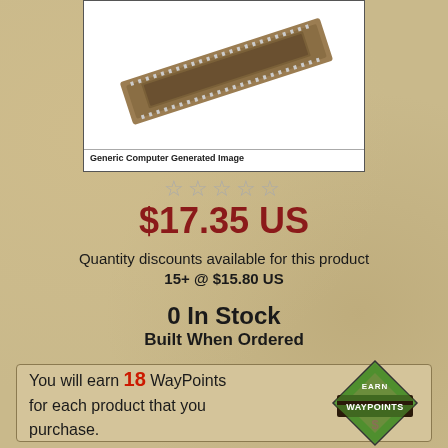[Figure (photo): Product photo showing a long brown PCB/electronic component at an angle on white background with label 'Generic Computer Generated Image']
☆☆☆☆☆
$17.35 US
Quantity discounts available for this product
15+ @ $15.80 US
0 In Stock
Built When Ordered
You will earn 18 WayPoints for each product that you purchase.
[Figure (logo): Earn WayPoints badge logo - diamond shaped with green sections, dark brown banner, and dollar sign]